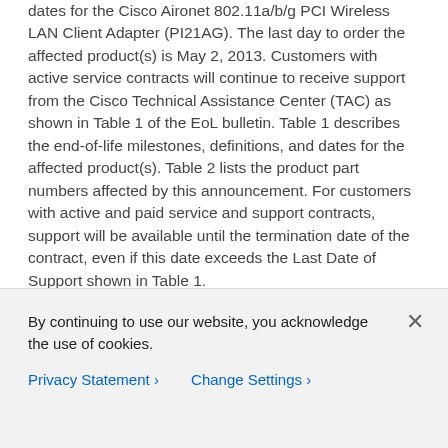dates for the Cisco Aironet 802.11a/b/g PCI Wireless LAN Client Adapter (PI21AG). The last day to order the affected product(s) is May 2, 2013. Customers with active service contracts will continue to receive support from the Cisco Technical Assistance Center (TAC) as shown in Table 1 of the EoL bulletin. Table 1 describes the end-of-life milestones, definitions, and dates for the affected product(s). Table 2 lists the product part numbers affected by this announcement. For customers with active and paid service and support contracts, support will be available until the termination date of the contract, even if this date exceeds the Last Date of Support shown in Table 1.
Table 1. End-of-Life Milestones and Dates for the Cisco Aironet 802.11a/b/g PCI Wireless LAN Client Adapter (PI21AG)
By continuing to use our website, you acknowledge the use of cookies.
Privacy Statement › Change Settings ›